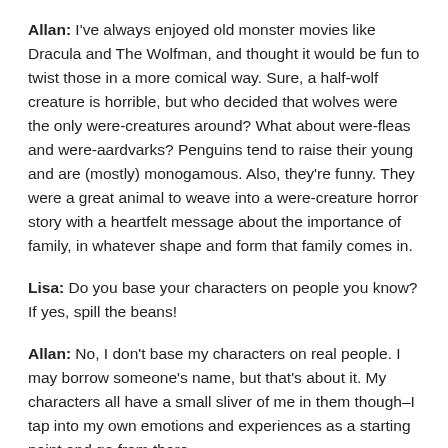Allan: I've always enjoyed old monster movies like Dracula and The Wolfman, and thought it would be fun to twist those in a more comical way. Sure, a half-wolf creature is horrible, but who decided that wolves were the only were-creatures around? What about were-fleas and were-aardvarks? Penguins tend to raise their young and are (mostly) monogamous. Also, they're funny. They were a great animal to weave into a were-creature horror story with a heartfelt message about the importance of family, in whatever shape and form that family comes in.
Lisa: Do you base your characters on people you know? If yes, spill the beans!
Allan: No, I don't base my characters on real people. I may borrow someone's name, but that's about it. My characters all have a small sliver of me in them though–I tap into my own emotions and experiences as a starting point and go from there.